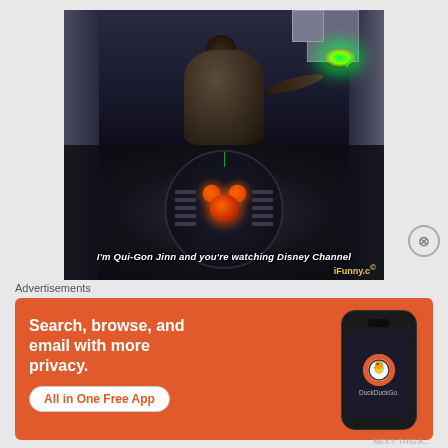[Figure (photo): A two-panel meme. Top panel shows a dark-robed figure (Qui-Gon Jinn) holding a green lightsaber. Bottom panel shows a circular speaker/door with a glowing orange Mickey Mouse hologram. Caption reads "I'm Qui-Gon Jinn and you're watching Disney Channel" with iFunny.co watermark.]
Advertisements
[Figure (other): DuckDuckGo advertisement banner with orange background. Text: 'Search, browse, and email with more privacy. All in One Free App' with a phone mockup showing the DuckDuckGo logo and app name.]